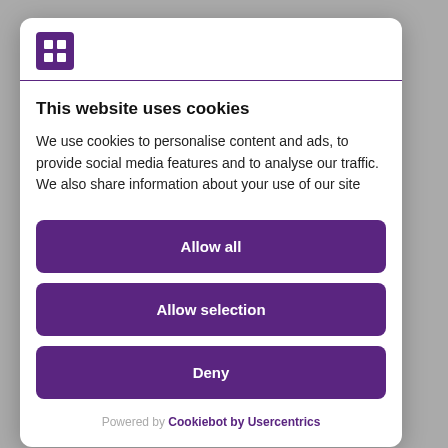[Figure (logo): Purple square logo with stylized H/grid icon]
This website uses cookies
We use cookies to personalise content and ads, to provide social media features and to analyse our traffic. We also share information about your use of our site
Allow all
Allow selection
Deny
Powered by Cookiebot by Usercentrics